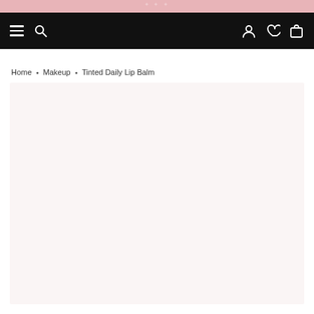[Figure (illustration): Top pink decorative banner strip with faint watermark/logo text]
Navigation bar with hamburger menu, search icon on left; account, wishlist, and cart icons on right
Home • Makeup • Tinted Daily Lip Balm
[Figure (photo): Large light pink/blush product image area, mostly empty/loading placeholder]